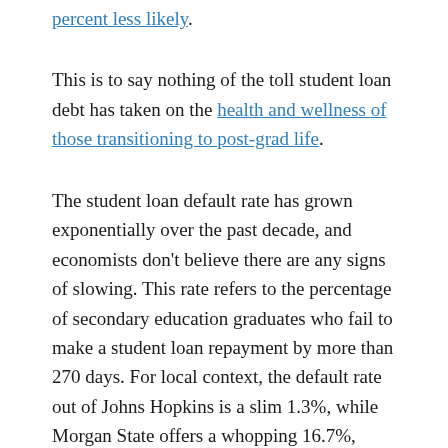percent less likely.
This is to say nothing of the toll student loan debt has taken on the health and wellness of those transitioning to post-grad life.
The student loan default rate has grown exponentially over the past decade, and economists don't believe there are any signs of slowing. This rate refers to the percentage of secondary education graduates who fail to make a student loan repayment by more than 270 days. For local context, the default rate out of Johns Hopkins is a slim 1.3%, while Morgan State offers a whopping 16.7%, almost double the national average. St. John's College has the lowest rate in